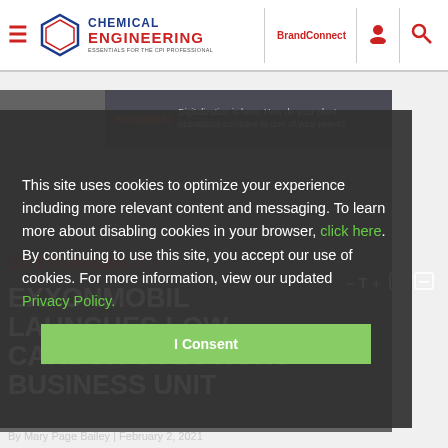Chemical Engineering — ESSENTIALS FOR THE CPI PROFESSIONAL | BrandConnect | [user icon] | [search icon]
[Figure (screenshot): eschbach advertisement banner: 'eschbach — Digitalization is here. How do your plant operations compare to one of your peers?']
This site uses cookies to optimize your experience including more relevant content and messaging. To learn more about disabling cookies in your browser, click here. By continuing to use this site, you accept our use of cookies. For more information, view our updated Privacy Policy.
SUSTAINABILITY
EXXONMOBIL LAUNCHES LOW CARBON SOLUTIONS BUSINESS UNIT
I Consent
By Mary Page Bailey | February 2, 2021